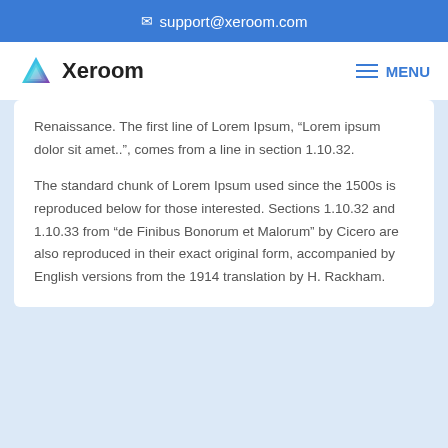support@xeroom.com
[Figure (logo): Xeroom logo with triangular blue-green-purple icon and bold text 'Xeroom']
Renaissance. The first line of Lorem Ipsum, “Lorem ipsum dolor sit amet..”, comes from a line in section 1.10.32.
The standard chunk of Lorem Ipsum used since the 1500s is reproduced below for those interested. Sections 1.10.32 and 1.10.33 from “de Finibus Bonorum et Malorum” by Cicero are also reproduced in their exact original form, accompanied by English versions from the 1914 translation by H. Rackham.